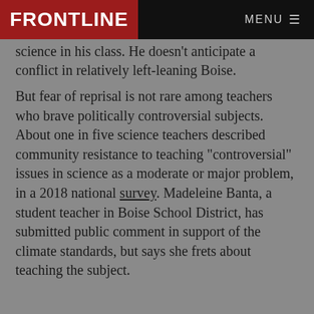FRONTLINE | MENU
science in his class. He doesn't anticipate a conflict in relatively left-leaning Boise.
But fear of reprisal is not rare among teachers who brave politically controversial subjects. About one in five science teachers described community resistance to teaching "controversial" issues in science as a moderate or major problem, in a 2018 national survey. Madeleine Banta, a student teacher in Boise School District, has submitted public comment in support of the climate standards, but says she frets about teaching the subject.